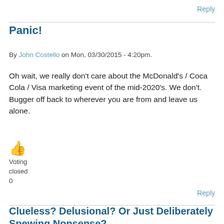Reply
Panic!
By John Costello on Mon, 03/30/2015 - 4:20pm.
Oh wait, we really don't care about the McDonald's / Coca Cola / Visa marketing event of the mid-2020's. We don't. Bugger off back to wherever you are from and leave us alone.
👍
Voting
closed
0
Reply
Clueless? Delusional? Or Just Deliberately Spewing Nonsense?
By Elmer on Sat, 01/07/2017 - 3:16am.